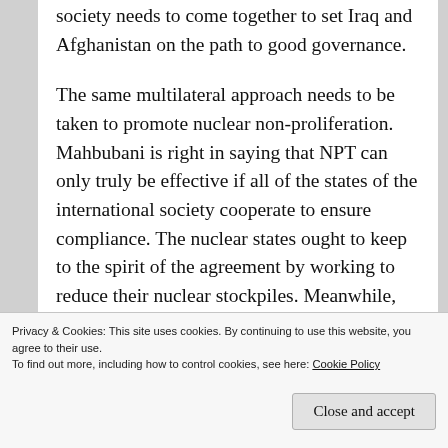society needs to come together to set Iraq and Afghanistan on the path to good governance.
The same multilateral approach needs to be taken to promote nuclear non-proliferation. Mahbubani is right in saying that NPT can only truly be effective if all of the states of the international society cooperate to ensure compliance. The nuclear states ought to keep to the spirit of the agreement by working to reduce their nuclear stockpiles. Meanwhile, international condemnation should fall upon any noncompliant state without exception. Given that NPT is a truly global agreement, counting 189 signatories, it is impractical for the
Privacy & Cookies: This site uses cookies. By continuing to use this website, you agree to their use.
To find out more, including how to control cookies, see here: Cookie Policy

Close and accept